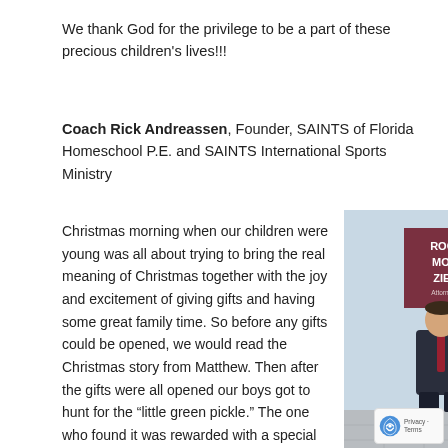We thank God for the privilege to be a part of these precious children's lives!!!
Coach Rick Andreassen, Founder, SAINTS of Florida Homeschool P.E. and SAINTS International Sports Ministry
Christmas morning when our children were young was all about trying to bring the real meaning of Christmas together with the joy and excitement of giving gifts and having some great family time. So before any gifts could be opened, we would read the Christmas story from Matthew. Then after the gifts were all opened our boys got to hunt for the “little green pickle.” The one who found it was rewarded with a special gift, and as German folklore would have it, good fortune for the rest of the year.
[Figure (photo): Two men in dark suits posing in front of a Rogers Morris Ziegler Attorneys sign; one seated and one standing behind.]